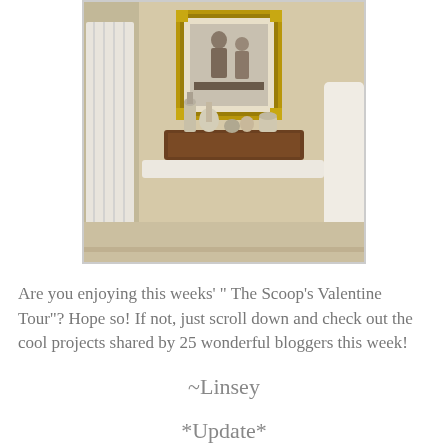[Figure (photo): A bathroom scene showing a toilet tank with a wooden tray holding decorative bottles and items on top, a vintage framed black-and-white photograph on the wall above, beige walls, a white shower curtain on the left, and part of another white fixture on the right.]
Are you enjoying this weeks' " The Scoop's Valentine Tour"? Hope so! If not, just scroll down and check out the cool projects shared by 25 wonderful bloggers this week!
~Linsey
*Update*